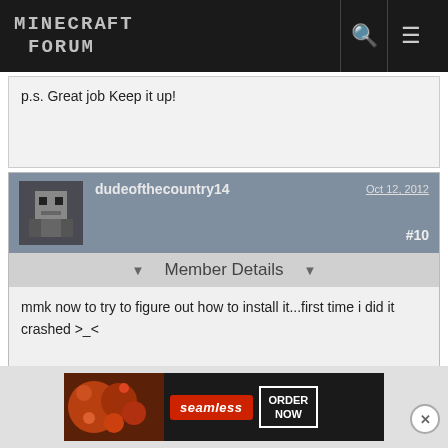MINECRAFT FORUM
p.s. Great job Keep it up!
dudeofthecountry14   Oct 12, 2012  #10
Member Details
mmk now to try to figure out how to install it...first time i did it crashed >_<
[Figure (infographic): Seamless food delivery advertisement showing pizza image, Seamless brand name in red, and ORDER NOW button]